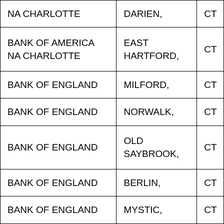| NA CHARLOTTE | DARIEN, | CT |
| BANK OF AMERICA NA CHARLOTTE | EAST HARTFORD, | CT |
| BANK OF ENGLAND | MILFORD, | CT |
| BANK OF ENGLAND | NORWALK, | CT |
| BANK OF ENGLAND | OLD SAYBROOK, | CT |
| BANK OF ENGLAND | BERLIN, | CT |
| BANK OF ENGLAND | MYSTIC, | CT |